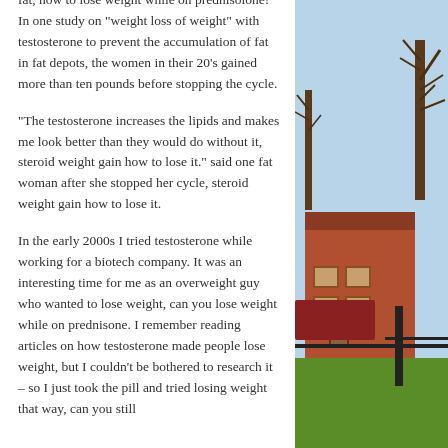fat, how to lose weight while on prednisolone! In one study on "weight loss of weight" with testosterone to prevent the accumulation of fat in fat depots, the women in their 20's gained more than ten pounds before stopping the cycle.
"The testosterone increases the lipids and makes me look better than they would do without it, steroid weight gain how to lose it." said one fat woman after she stopped her cycle, steroid weight gain how to lose it.
In the early 2000s I tried testosterone while working for a biotech company. It was an interesting time for me as an overweight guy who wanted to lose weight, can you lose weight while on prednisone. I remember reading articles on how testosterone made people lose weight, but I couldn't be bothered to research it – so I just took the pill and tried losing weight that way, can you still
[Figure (photo): Outdoor photo showing a brick building with a red-tiled roof, trees, green lawn, dark fence post, and hedges in the foreground, with a blue sky in the background.]